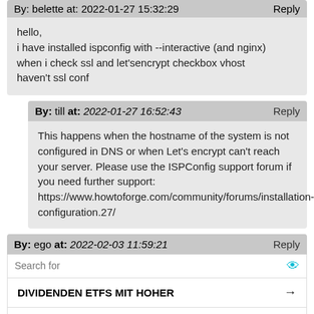By: belette at: 2022-01-27 15:32:29   Reply
hello,
i have installed ispconfig with --interactive (and nginx)
when i check ssl and let'sencrypt checkbox vhost haven't ssl conf
By: till at: 2022-01-27 16:52:43   Reply
This happens when the hostname of the system is not configured in DNS or when Let's encrypt can't reach your server. Please use the ISPConfig support forum if you need further support: https://www.howtoforge.com/community/forums/installation-configuration.27/
By: ego at: 2022-02-03 11:59:21   Reply
Search for
DIVIDENDEN ETFS MIT HOHER
10 BEST VPN PROVIDERS